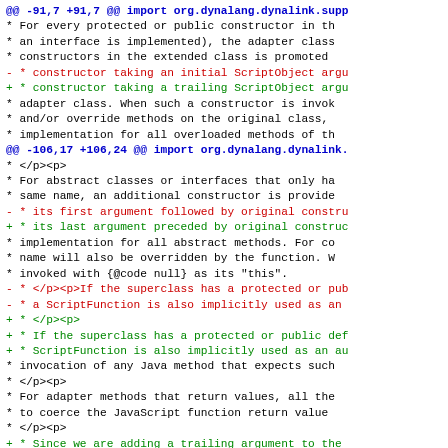[Figure (screenshot): A code diff (patch/diff view) showing changes to a Java source file. Lines shown include hunk headers in blue, removed lines in red (prefixed with -), added lines in green (prefixed with +), and context lines in black (prefixed with spaces and *). The diff shows changes around lines 91 and 106 related to ScriptObject constructor argument ordering (initial vs trailing) and superclass default constructor handling.]